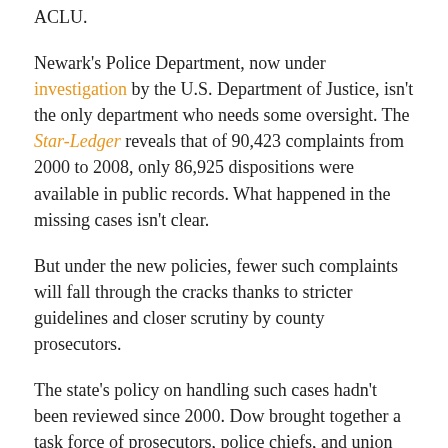ACLU.
Newark's Police Department, now under investigation by the U.S. Department of Justice, isn't the only department who needs some oversight. The Star-Ledger reveals that of 90,423 complaints from 2000 to 2008, only 86,925 dispositions were available in public records. What happened in the missing cases isn't clear.
But under the new policies, fewer such complaints will fall through the cracks thanks to stricter guidelines and closer scrutiny by county prosecutors.
The state's policy on handling such cases hadn't been reviewed since 2000. Dow brought together a task force of prosecutors, police chiefs, and union officials to draft the changes now being implemented.